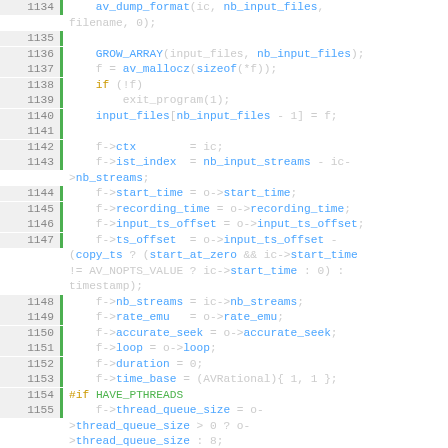[Figure (screenshot): Source code viewer showing lines 1134-1159 of a C source file with syntax highlighting. Line numbers shown in gray on left with green vertical bar separator. Code shows file input handling logic including av_dump_format, GROW_ARRAY, av_mallocz, and field assignments for input file structures.]